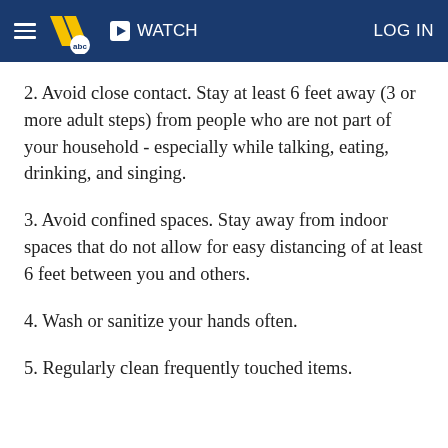WATCH | LOG IN
2. Avoid close contact. Stay at least 6 feet away (3 or more adult steps) from people who are not part of your household - especially while talking, eating, drinking, and singing.
3. Avoid confined spaces. Stay away from indoor spaces that do not allow for easy distancing of at least 6 feet between you and others.
4. Wash or sanitize your hands often.
5. Regularly clean frequently touched items.